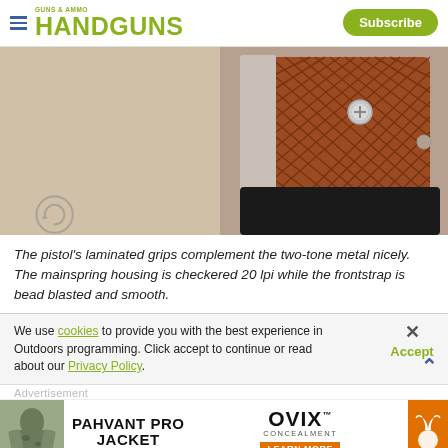HANDGUNS | Subscribe
[Figure (photo): Close-up of a pistol's laminated wood grips with checkered pattern, showing two-tone metal frame. A camera/refresh icon is visible in the lower left.]
The pistol's laminated grips complement the two-tone metal nicely. The mainspring housing is checkered 20 lpi while the frontstrap is bead blasted and smooth.
We use cookies to provide you with the best experience in Outdoors programming. Click accept to continue or read about our Privacy Policy.
Advertisement
[Figure (photo): Advertisement banner: Man in camo jacket (Pahvant Pro Jacket) alongside OVIX Concealment brand with Browning logo and LEARN MORE button.]